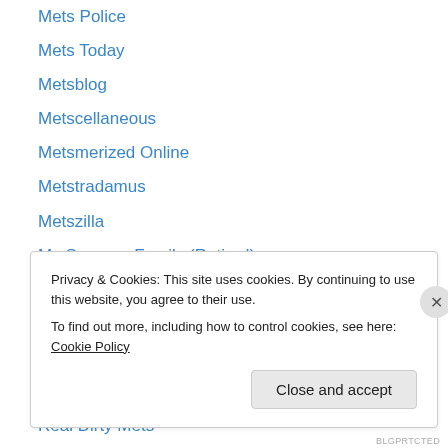Mets Police
Mets Today
Metsblog
Metscellaneous
Metsmerized Online
Metstradamus
Metszilla
My Summer Family (Retired)
NJ.com Jets
On the Black
Rangers Report
Rant Sports Jets Blog
Real Dirty Mets
Privacy & Cookies: This site uses cookies. By continuing to use this website, you agree to their use. To find out more, including how to control cookies, see here: Cookie Policy
Close and accept
BLGPRTCTED